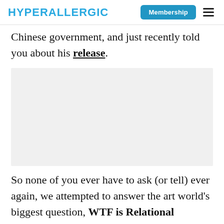HYPERALLERGIC  Membership ☰
Chinese government, and just recently told you about his release.
[Figure (photo): Gray placeholder image block]
So none of you ever have to ask (or tell) ever again, we attempted to answer the art world's biggest question, WTF is Relational